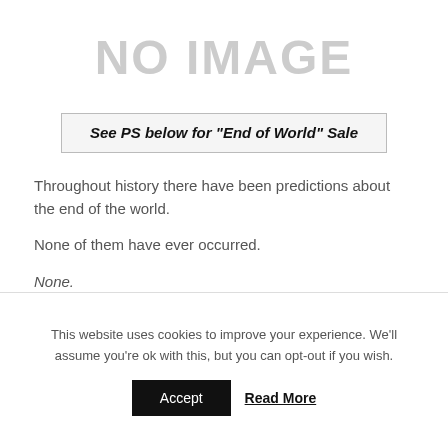[Figure (other): NO IMAGE placeholder text in large light gray letters]
See PS below for "End of World" Sale
Throughout history there have been predictions about the end of the world.

None of them have ever occurred.

None.
This website uses cookies to improve your experience. We'll assume you're ok with this, but you can opt-out if you wish.
Accept   Read More